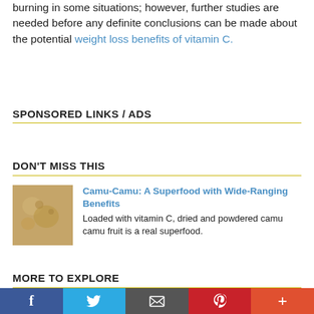burning in some situations; however, further studies are needed before any definite conclusions can be made about the potential weight loss benefits of vitamin C.
SPONSORED LINKS / ADS
DON'T MISS THIS
[Figure (photo): Close-up photo of dried camu camu powder, yellowish-beige color]
Camu-Camu: A Superfood with Wide-Ranging Benefits
Loaded with vitamin C, dried and powdered camu camu fruit is a real superfood.
MORE TO EXPLORE
Social sharing bar: Facebook, Twitter, Email, Pinterest, More